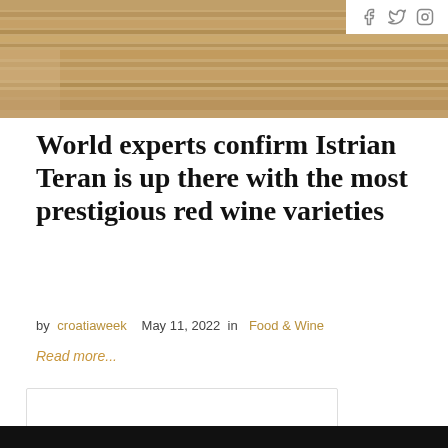[Figure (photo): Partial view of a wooden surface or table top, cropped at the top of the page]
Social media icons: Facebook, Twitter, Instagram
World experts confirm Istrian Teran is up there with the most prestigious red wine varieties
by croatiaweek   May 11, 2022   in   Food & Wine
Read more...